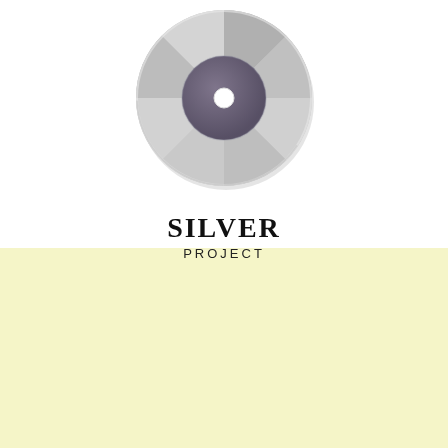[Figure (illustration): A flat-style CD/DVD disc icon with silver and light gray coloring, darker center hub area with a small white hole in the middle. The disc has subtle shading variations across its surface.]
SILVER PROJECT